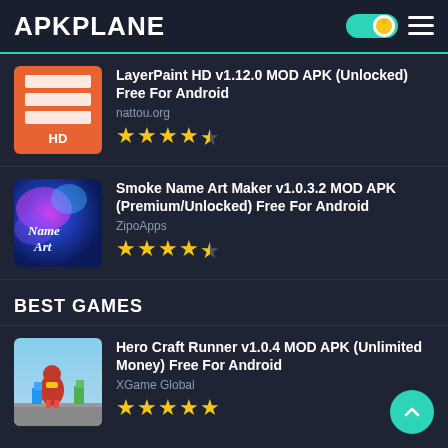APKPLANE
LayerPaint HD v1.12.0 MOD APK (Unlocked) Free For Android
nattou.org
★★★★½
Smoke Name Art Maker v1.0.3.2 MOD APK (Premium/Unlocked) Free For Android
ZipoApps
★★★★½
BEST GAMES
Hero Craft Runner v1.0.4 MOD APK (Unlimited Money) Free For Android
XGame Global
★★★★★